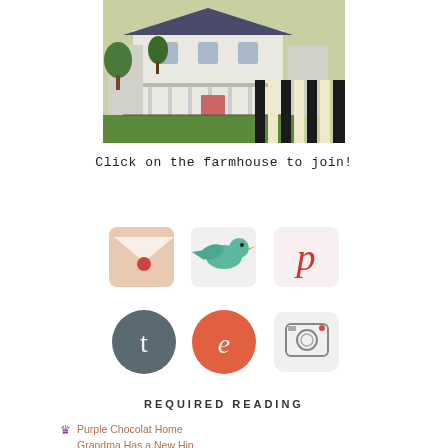[Figure (illustration): Watercolor/painted illustration of a white farmhouse with trees and garden, overlaid with a black and white striped/checkerboard pattern in the lower right corner]
Click on the farmhouse to join!
[Figure (illustration): Six hand-drawn social media icons in two rows: top row has email envelope (pink/peach background with red heart), Twitter bird (teal bird on white), Pinterest (red 'p' on white); bottom row has Tumblr ('t' on dark grey circle), Bloglovin ('b' on orange circle), Instagram (camera on white square with rounded corners)]
REQUIRED READING
Purple Chocolat Home
Grandma Has a New Hip